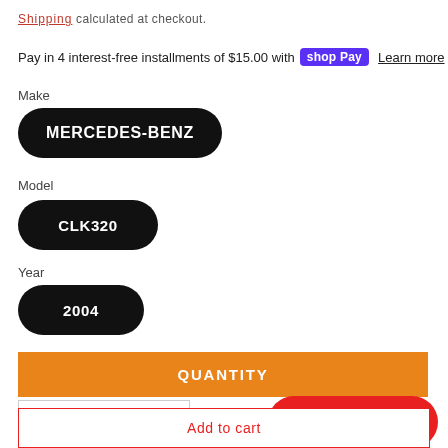Shipping calculated at checkout.
Pay in 4 interest-free installments of $15.00 with shop Pay Learn more
Make
MERCEDES-BENZ
Model
CLK320
Year
2004
QUANTITY
Chat with us
Add to cart